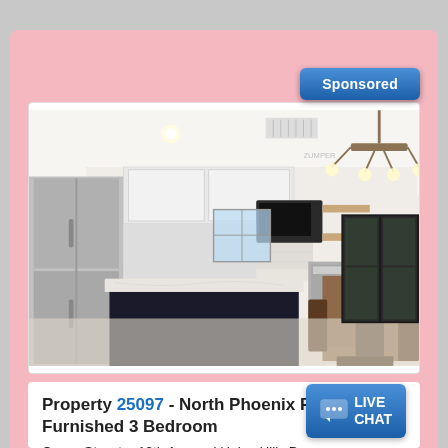Sponsored
[Figure (photo): Interior kitchen photo of a modern home with white cabinets, black kitchen island with marble countertop, stainless steel appliances including refrigerator and dishwasher, open shelving, and a dining area with wooden table and chairs. A chandelier hangs from the ceiling.]
Property 25097 - North Phoenix Fully Furnished 3 Bedroom
Cross Streets: 19th Ave and Union Hills Dr